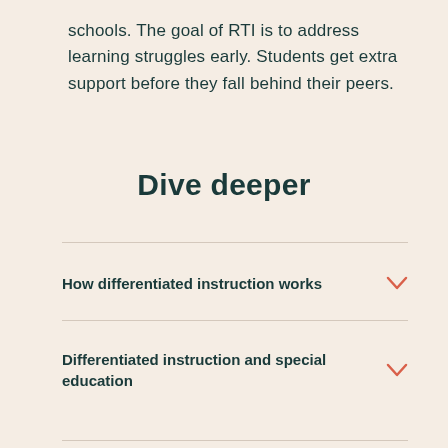schools. The goal of RTI is to address learning struggles early. Students get extra support before they fall behind their peers.
Dive deeper
How differentiated instruction works
Differentiated instruction and special education